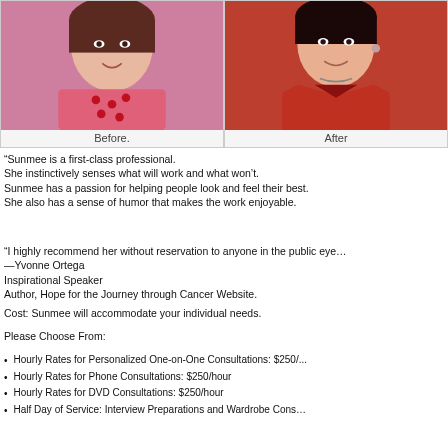[Figure (photo): Before photo: woman in pink top with cherry pattern]
Before.
[Figure (photo): After photo: woman in red jacket, professional headshot]
After
“Sunmee is a first-class professional. She instinctively senses what will work and what won’t. Sunmee has a passion for helping people look and feel their best. She also has a sense of humor that makes the work enjoyable.
“I highly recommend her without reservation to anyone in the public eye… —Yvonne Ortega Inspirational Speaker Author, Hope for the Journey through Cancer Website.
Cost: Sunmee will accommodate your individual needs.
Please Choose From:
Hourly Rates for Personalized One-on-One Consultations: $250/...
Hourly Rates for Phone Consultations: $250/hour
Hourly Rates for DVD Consultations: $250/hour
Half Day of Service: Interview Preparations and Wardrobe Cons...